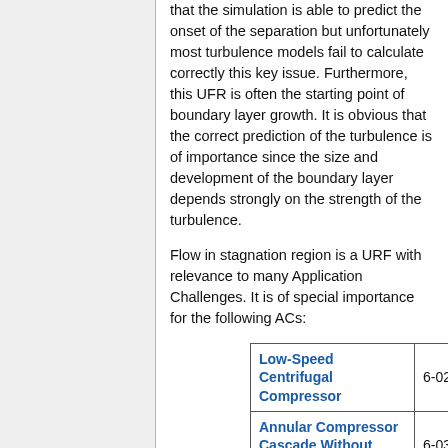that the simulation is able to predict the onset of the separation but unfortunately most turbulence models fail to calculate correctly this key issue. Furthermore, this UFR is often the starting point of boundary layer growth. It is obvious that the correct prediction of the turbulence is of importance since the size and development of the boundary layer depends strongly on the strength of the turbulence.
Flow in stagnation region is a URF with relevance to many Application Challenges. It is of special importance for the following ACs:
|  |  |
| --- | --- |
| Low-Speed Centrifugal Compressor | 6-02 |
| Annular Compressor Cascade Without Clearance | 6-03 |